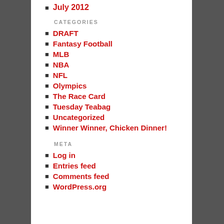July 2012
CATEGORIES
DRAFT
Fantasy Football
MLB
NBA
NFL
Olympics
The Race Card
Tuesday Teabag
Uncategorized
Winner Winner, Chicken Dinner!
META
Log in
Entries feed
Comments feed
WordPress.org